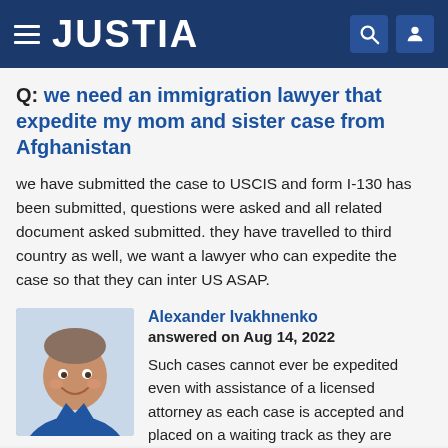JUSTIA
Q: we need an immigration lawyer that expedite my mom and sister case from Afghanistan
we have submitted the case to USCIS and form I-130 has been submitted, questions were asked and all related document asked submitted. they have travelled to third country as well, we want a lawyer who can expedite the case so that they can inter US ASAP.
[Figure (photo): Portrait photo of Alexander Ivakhnenko, a middle-aged man smiling, wearing a blue shirt, light background]
Alexander Ivakhnenko
answered on Aug 14, 2022
Such cases cannot ever be expedited even with assistance of a licensed attorney as each case is accepted and placed on a waiting track as they are